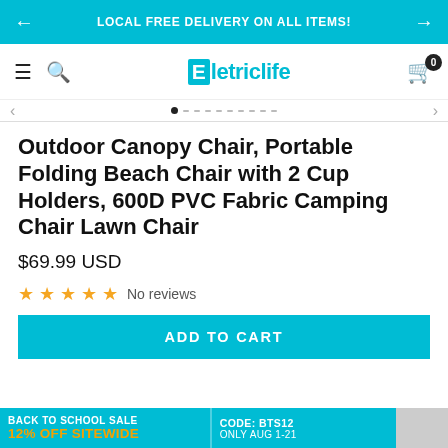LOCAL FREE DELIVERY ON ALL ITEMS!
[Figure (screenshot): Eletriclife e-commerce navigation bar with hamburger menu, search icon, logo, and cart icon with badge 0]
[Figure (screenshot): Product image slider navigation with dots]
Outdoor Canopy Chair, Portable Folding Beach Chair with 2 Cup Holders, 600D PVC Fabric Camping Chair Lawn Chair
$69.99 USD
★★★★★ No reviews
ADD TO CART
BACK TO SCHOOL SALE 12% OFF SITEWIDE CODE: BTS12 ONLY AUG 1-21